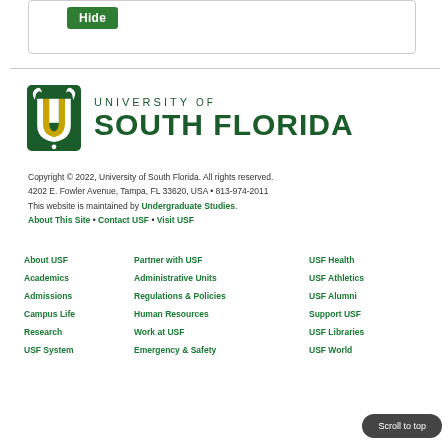[Figure (screenshot): Hide button inside a bordered box at the top of the page]
[Figure (logo): University of South Florida logo with bull icon and green text]
Copyright © 2022, University of South Florida. All rights reserved. 4202 E. Fowler Avenue, Tampa, FL 33620, USA • 813-974-2011 This website is maintained by Undergraduate Studies. About This Site • Contact USF • Visit USF
About USF
Partner with USF
USF Health
Academics
Administrative Units
USF Athletics
Admissions
Regulations & Policies
USF Alumni
Campus Life
Human Resources
Support USF
Research
Work at USF
USF Libraries
USF System
Emergency & Safety
USF World